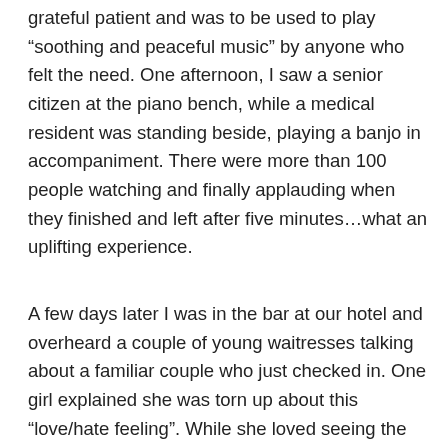grateful patient and was to be used to play “soothing and peaceful music” by anyone who felt the need. One afternoon, I saw a senior citizen at the piano bench, while a medical resident was standing beside, playing a banjo in accompaniment. There were more than 100 people watching and finally applauding when they finished and left after five minutes…what an uplifting experience.
A few days later I was in the bar at our hotel and overheard a couple of young waitresses talking about a familiar couple who just checked in. One girl explained she was torn up about this “love/hate feeling”. While she loved seeing the couple, she wished she would not see them again because it would mean they were better